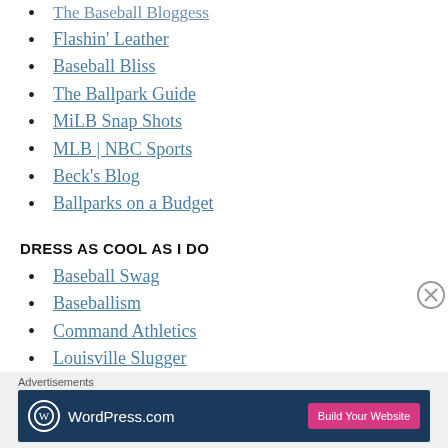The Baseball Bloggess
Flashin' Leather
Baseball Bliss
The Ballpark Guide
MiLB Snap Shots
MLB | NBC Sports
Beck's Blog
Ballparks on a Budget
DRESS AS COOL AS I DO
Baseball Swag
Baseballism
Command Athletics
Louisville Slugger
Advertisements
[Figure (other): WordPress.com advertisement banner with Build Your Website button]